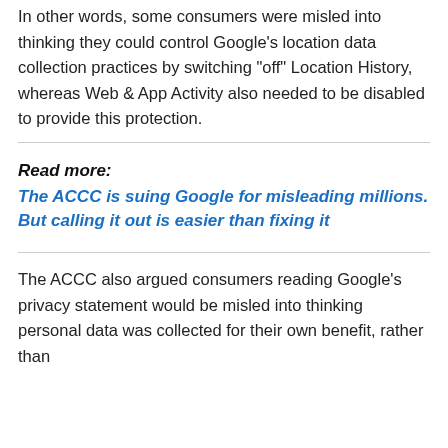In other words, some consumers were misled into thinking they could control Google's location data collection practices by switching “off” Location History, whereas Web & App Activity also needed to be disabled to provide this protection.
Read more: The ACCC is suing Google for misleading millions. But calling it out is easier than fixing it
The ACCC also argued consumers reading Google’s privacy statement would be misled into thinking personal data was collected for their own benefit, rather than...